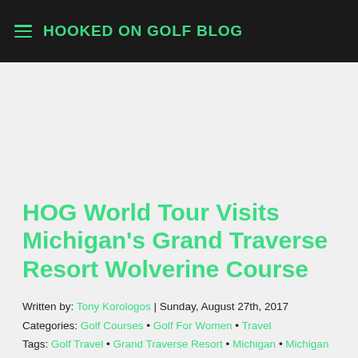HOOKED ON GOLF BLOG
HOG World Tour Visits Michigan's Grand Traverse Resort Wolverine Course
Written by: Tony Korologos | Sunday, August 27th, 2017
Categories: Golf Courses • Golf For Women • Travel
Tags: Golf Travel • Grand Traverse Resort • Michigan • Michigan Golf • Travel
The final golf day of the 2017 Michigan HOG World Tour